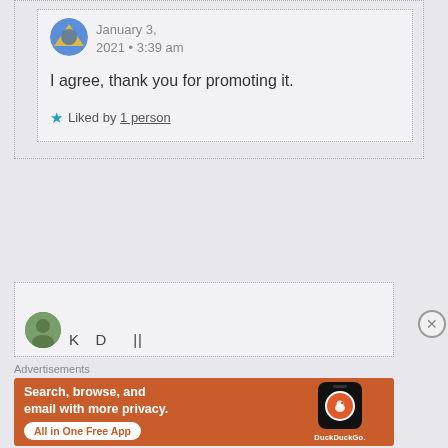January 3, 2021 • 3:39 am
I agree, thank you for promoting it.
★ Liked by 1 person
[Figure (screenshot): Partial second comment block with avatar]
Advertisements
[Figure (infographic): DuckDuckGo advertisement banner: Search, browse, and email with more privacy. All in One Free App. Shows a phone with DuckDuckGo logo.]